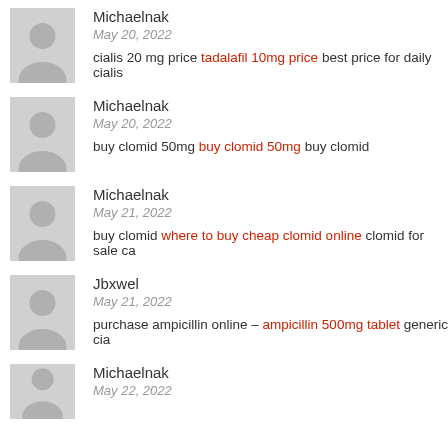Michaelnak
May 20, 2022
cialis 20 mg price tadalafil 10mg price best price for daily cialis
Michaelnak
May 20, 2022
buy clomid 50mg buy clomid 50mg buy clomid
Michaelnak
May 21, 2022
buy clomid where to buy cheap clomid online clomid for sale ca
Jbxwel
May 21, 2022
purchase ampicillin online – ampicillin 500mg tablet generic cia
Michaelnak
May 22, 2022